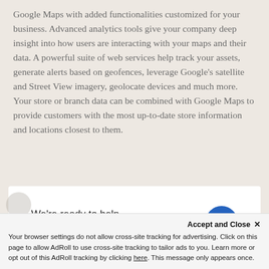Google Maps with added functionalities customized for your business. Advanced analytics tools give your company deep insight into how users are interacting with your maps and their data. A powerful suite of web services help track your assets, generate alerts based on geofences, leverage Google's satellite and Street View imagery, geolocate devices and much more. Your store or branch data can be combined with Google Maps to provide customers with the most up-to-date store information and locations closest to them.
We're ready to help. Let's talk.
Accept and Close ✕
Your browser settings do not allow cross-site tracking for advertising. Click on this page to allow AdRoll to use cross-site tracking to tailor ads to you. Learn more or opt out of this AdRoll tracking by clicking here. This message only appears once.